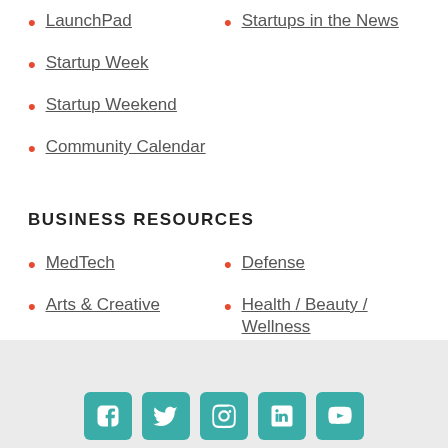LaunchPad
Startups in the News
Startup Week
Startup Weekend
Community Calendar
BUSINESS RESOURCES
MedTech
Defense
Arts & Creative
Health / Beauty / Wellness
Materials & Manufacturing
Food & Beverage
[Figure (infographic): Row of 5 social media icon buttons (Facebook, Twitter, Instagram, LinkedIn, YouTube) in teal/green color with rounded corners at the bottom of the page]